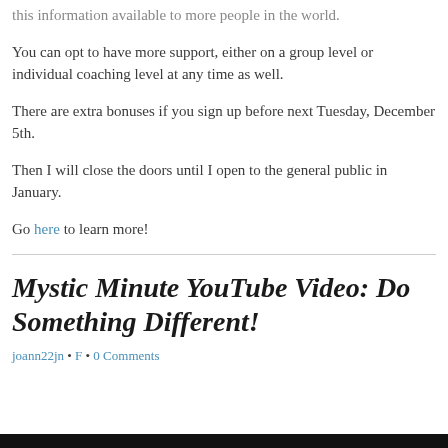this information available to more people in the world.
You can opt to have more support, either on a group level or individual coaching level at any time as well.
There are extra bonuses if you sign up before next Tuesday, December 5th.
Then I will close the doors until I open to the general public in January.
Go here to learn more!
Mystic Minute YouTube Video: Do Something Different!
joann22jn • F • 0 Comments